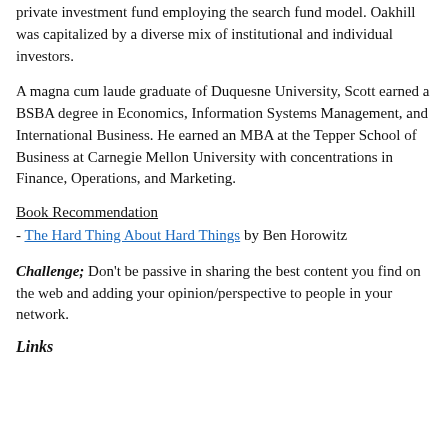private investment fund employing the search fund model. Oakhill was capitalized by a diverse mix of institutional and individual investors.
A magna cum laude graduate of Duquesne University, Scott earned a BSBA degree in Economics, Information Systems Management, and International Business. He earned an MBA at the Tepper School of Business at Carnegie Mellon University with concentrations in Finance, Operations, and Marketing.
Book Recommendation
- The Hard Thing About Hard Things by Ben Horowitz
Challenge; Don't be passive in sharing the best content you find on the web and adding your opinion/perspective to people in your network.
Links